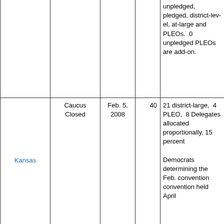| State | Type | Date | Delegates | Notes |
| --- | --- | --- | --- | --- |
|  |  |  |  | unpledged, pledged, district-level, at-large and PLEOs. 0 unpledged PLEOs are add-on. |
| Kansas | Caucus Closed | Feb. 5, 2008 | 40 | 21 district-large, 4 PLEO, 8 Delegates allocated proportiona… 15 percent

Democrats determining the Feb. convention convention held April |